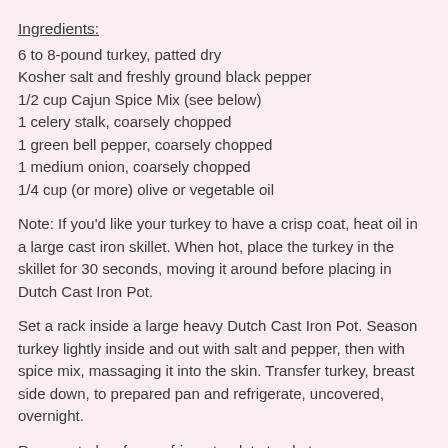Ingredients:
6 to 8-pound turkey, patted dry
Kosher salt and freshly ground black pepper
1/2 cup Cajun Spice Mix (see below)
1 celery stalk, coarsely chopped
1 green bell pepper, coarsely chopped
1 medium onion, coarsely chopped
1/4 cup (or more) olive or vegetable oil
Note: If you'd like your turkey to have a crisp coat, heat oil in a large cast iron skillet. When hot, place the turkey in the skillet for 30 seconds, moving it around before placing in Dutch Cast Iron Pot.
Set a rack inside a large heavy Dutch Cast Iron Pot. Season turkey lightly inside and out with salt and pepper, then with spice mix, massaging it into the skin. Transfer turkey, breast side down, to prepared pan and refrigerate, uncovered, overnight.
Remove turkey from refrigerator; let stand at room temperature for 1 hour.